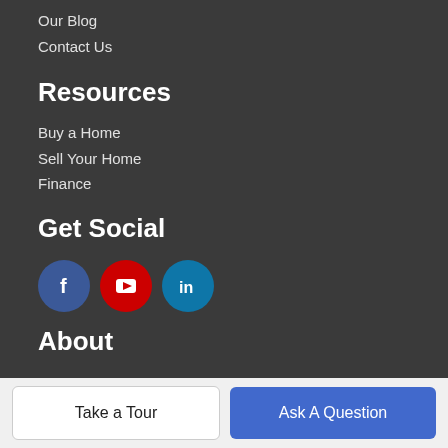Our Blog
Contact Us
Resources
Buy a Home
Sell Your Home
Finance
Get Social
[Figure (infographic): Social media icons: Facebook (blue circle with f), YouTube (red circle with play button), LinkedIn (teal circle with in)]
About
Jeffrey Sabel
1780 West Horizon Ridge Parkway #100, Henderson, NV 89012
Take a Tour
Ask A Question